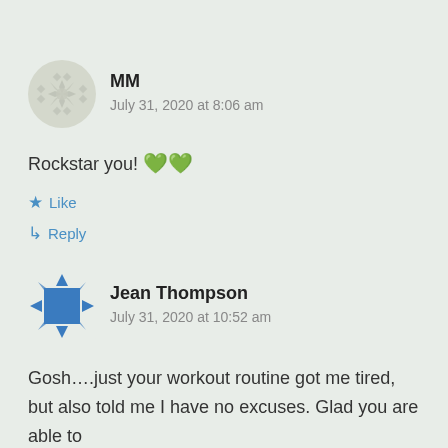[Figure (illustration): Avatar icon for user MM - grey/white snowflake decorative pattern circle]
MM
July 31, 2020 at 8:06 am
Rockstar you! 💚💚
Like
Reply
[Figure (illustration): Avatar icon for Jean Thompson - blue geometric/snowflake pattern square]
Jean Thompson
July 31, 2020 at 10:52 am
Gosh….just your workout routine got me tired, but also told me I have no excuses. Glad you are able to